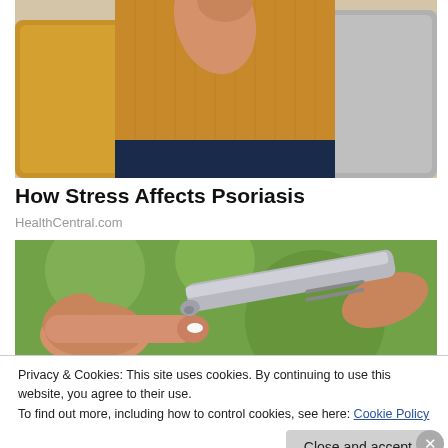[Figure (photo): A person in a yellow sweater sitting on a couch, scratching their arm, with yellow and grey pillows visible in the background.]
How Stress Affects Psoriasis
HealthCentral.com
[Figure (photo): Close-up of two hands, one applying cream or ointment from a silver tube onto a fingertip, with a green blurred background.]
Privacy & Cookies: This site uses cookies. By continuing to use this website, you agree to their use.
To find out more, including how to control cookies, see here: Cookie Policy
Close and accept